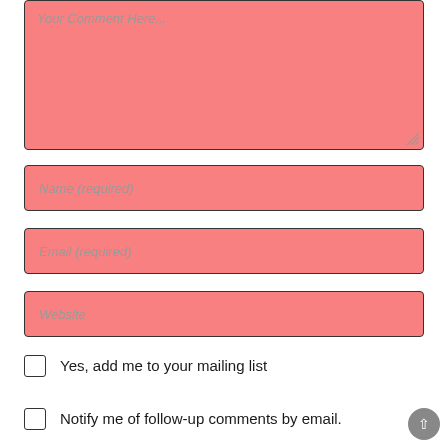[Figure (screenshot): Comment form textarea with pink background and placeholder text 'Your Comment Here...']
Name (required)
Email (required)
Website
Yes, add me to your mailing list
Notify me of follow-up comments by email.